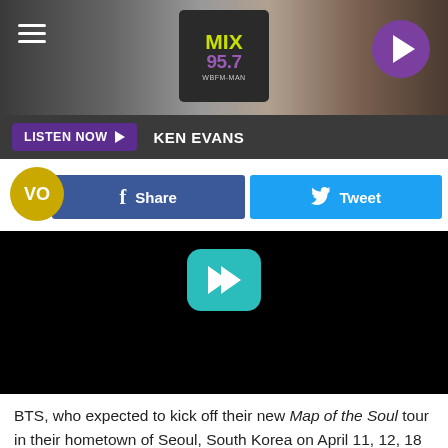[Figure (screenshot): MIX 95.7 radio station website header with logo, hamburger menu, and play button]
LISTEN NOW ▶  KEN EVANS
[Figure (screenshot): Social share buttons: Facebook Share and Twitter Tweet, with VO avatar icon]
[Figure (screenshot): Black video player area with teal double-arrow play button]
BTS, who expected to kick off their new Map of the Soul tour in their hometown of Seoul, South Korea on April 11, 12, 18 and 19, announced the shows will be cancelled and fans will be refunded.
"It is unavoidable that the concert must be canceled without